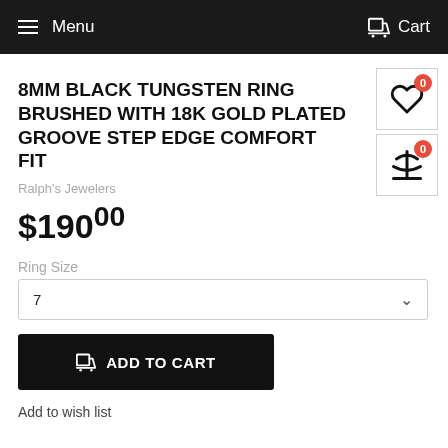Menu  Cart
8MM BLACK TUNGSTEN RING BRUSHED WITH 18K GOLD PLATED GROOVE STEP EDGE COMFORT FIT
Ralph's Jewelers
$190.00
Ring Size
7
ADD TO CART
Add to wish list